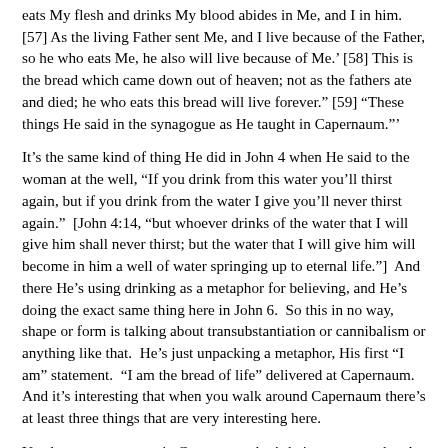eats My flesh and drinks My blood abides in Me, and I in him. [57] As the living Father sent Me, and I live because of the Father, so he who eats Me, he also will live because of Me.' [58] This is the bread which came down out of heaven; not as the fathers ate and died; he who eats this bread will live forever." [59] "These things He said in the synagogue as He taught in Capernaum."'
It's the same kind of thing He did in John 4 when He said to the woman at the well, “If you drink from this water you’ll thirst again, but if you drink from the water I give you’ll never thirst again.”  [John 4:14, “but whoever drinks of the water that I will give him shall never thirst; but the water that I will give him will become in him a well of water springing up to eternal life.”]  And there He’s using drinking as a metaphor for believing, and He’s doing the exact same thing here in John 6.  So this in no way, shape or form is talking about transubstantiation or cannibalism or anything like that.  He’s just unpacking a metaphor, His first “I am” statement.  “I am the bread of life” delivered at Capernaum.  And it’s interesting that when you walk around Capernaum there’s at least three things that are very interesting here.
You have a synagogue in Capernaum that’s being excavated and there at the bottom, in between the two bottom pictures is my family and myself in front of this excavated synagogue. And that shouldn’t surprise us because Jesus did a lot of His teaching, according to John 6 in this synagogue. So they found or excavated a